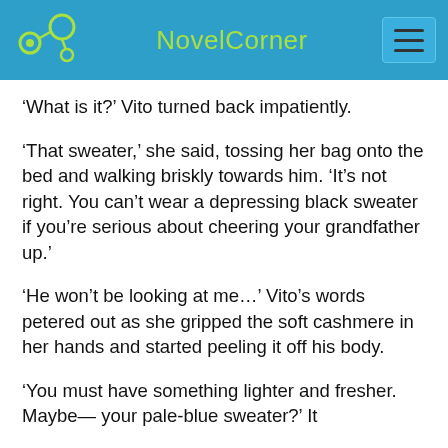NovelCorner
‘What is it?’ Vito turned back impatiently.
‘That sweater,’ she said, tossing her bag onto the bed and walking briskly towards him. ‘It’s not right. You can’t wear a depressing black sweater if you’re serious about cheering your grandfather up.’
‘He won’t be looking at me…’ Vito’s words petered out as she gripped the soft cashmere in her hands and started peeling it off his body.
‘You must have something lighter and fresher. Maybe— your pale-blue sweater?’ It